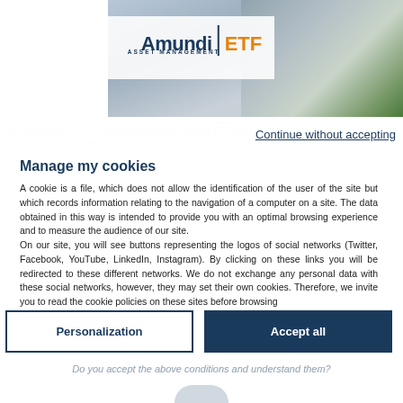[Figure (logo): Amundi | ETF Asset Management logo on white strip, with building and tree background image]
Continue without accepting
Manage my cookies
A cookie is a file, which does not allow the identification of the user of the site but which records information relating to the navigation of a computer on a site. The data obtained in this way is intended to provide you with an optimal browsing experience and to measure the audience of our site.
On our site, you will see buttons representing the logos of social networks (Twitter, Facebook, YouTube, LinkedIn, Instagram). By clicking on these links you will be redirected to these different networks. We do not exchange any personal data with these social networks, however, they may set their own cookies. Therefore, we invite you to read the cookie policies on these sites before browsing
View our cookie policy
Personalization
Accept all
Do you accept the above conditions and understand them?